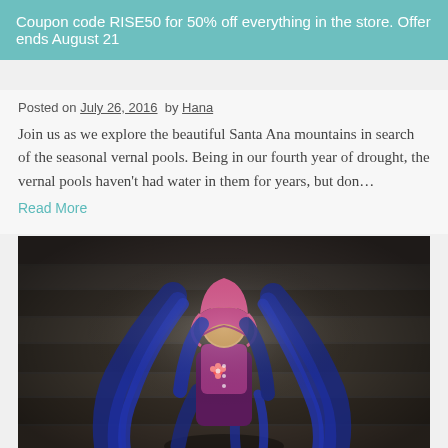Coupon code RISE50 for 50% off everything in the store. Offer ends August 21
Posted on July 26, 2016 by Hana
Join us as we explore the beautiful Santa Ana mountains in search of the seasonal vernal pools. Being in our fourth year of drought, the vernal pools haven't had water in them for years, but don...
Read More
[Figure (photo): A handmade doll with long blue yarn hair and a pink felt bonnet, wearing a purple outfit with a small flower detail, photographed on a wooden surface against a dark wooden plank background.]